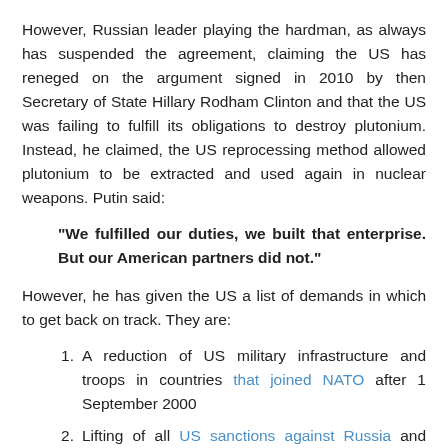However, Russian leader playing the hardman, as always has suspended the agreement, claiming the US has reneged on the argument signed in 2010 by then Secretary of State Hillary Rodham Clinton and that the US was failing to fulfill its obligations to destroy plutonium. Instead, he claimed, the US reprocessing method allowed plutonium to be extracted and used again in nuclear weapons. Putin said:
"We fulfilled our duties, we built that enterprise. But our American partners did not."
However, he has given the US a list of demands in which to get back on track. They are:
A reduction of US military infrastructure and troops in countries that joined NATO after 1 September 2000
Lifting of all US sanctions against Russia and compensation for the damage they have caused after Moscow annexed the Crimea and the eastern half of the Ukraine.
It seems Putin likes to play Poker. The question to ask is